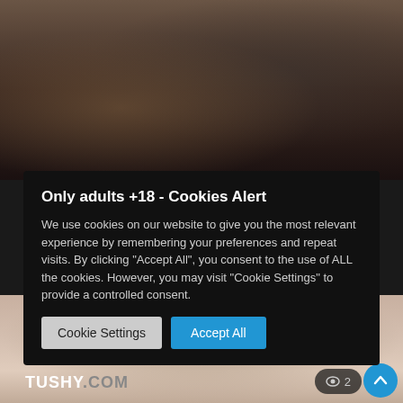[Figure (screenshot): Top portion of a website showing a dark blurry image in the background, partially obscured by a cookie consent banner.]
Only adults +18 - Cookies Alert
We use cookies on our website to give you the most relevant experience by remembering your preferences and repeat visits. By clicking "Accept All", you consent to the use of ALL the cookies. However, you may visit "Cookie Settings" to provide a controlled consent.
Cookie Settings | Accept All
[Figure (screenshot): Bottom portion of a website showing a skin-toned blurry image with TUSHY.COM logo in the bottom-left, a view count badge, and a scroll-to-top button.]